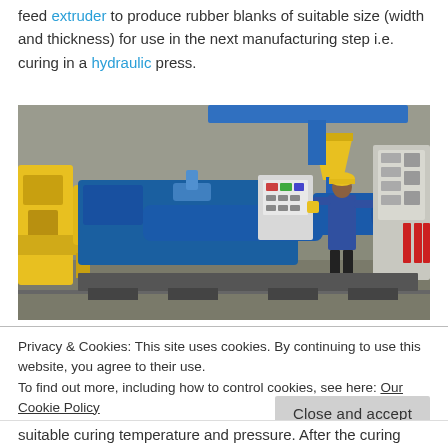feed extruder to produce rubber blanks of suitable size (width and thickness) for use in the next manufacturing step i.e. curing in a hydraulic press.
[Figure (photo): Industrial rubber extruder machine in a factory setting. A worker in a blue uniform and yellow hard hat stands next to large blue industrial machinery including an extruder with a yellow hopper, control panels, and various mechanical components.]
Privacy & Cookies: This site uses cookies. By continuing to use this website, you agree to their use.
To find out more, including how to control cookies, see here: Our Cookie Policy
Close and accept
suitable curing temperature and pressure. After the curing